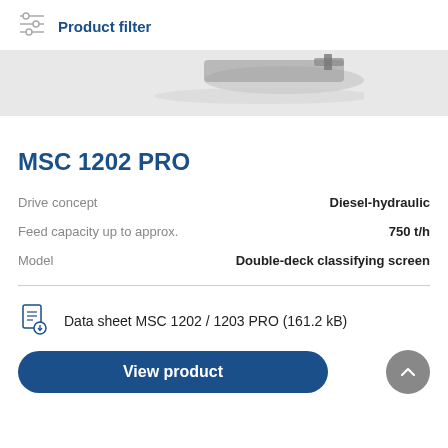Product filter
[Figure (photo): Partial view of MSC 1202 PRO machine, showing top portion of the industrial screening equipment on a light gray background]
MSC 1202 PRO
| Attribute | Value |
| --- | --- |
| Drive concept | Diesel-hydraulic |
| Feed capacity up to approx. | 750 t/h |
| Model | Double-deck classifying screen |
Data sheet MSC 1202 / 1203 PRO (161.2 kB)
View product